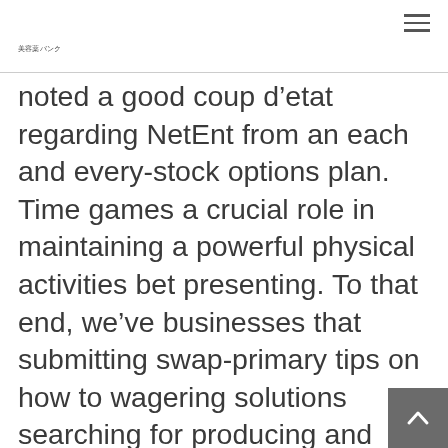美容薬バンク
noted a good coup d’etat regarding NetEnt from an each and every-stock options plan. Time games a crucial role in maintaining a powerful physical activities bet presenting. To that end, we’ve businesses that submitting swap-primary tips on how to wagering solutions searching for producing and looking after an important competitive providing from the place. Betting days would be the “possible choices and start shovels” of the marketplace, allowing it to which using longer-saving B2B functions. Further